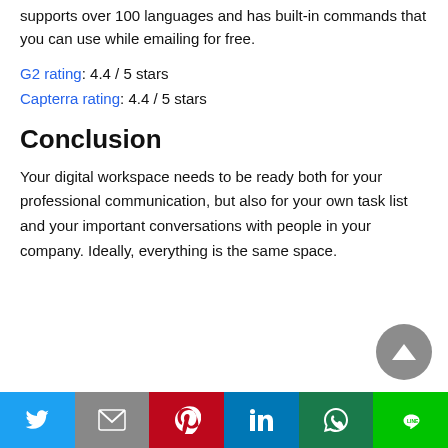supports over 100 languages and has built-in commands that you can use while emailing for free.
G2 rating: 4.4 / 5 stars
Capterra rating: 4.4 / 5 stars
Conclusion
Your digital workspace needs to be ready both for your professional communication, but also for your own task list and your important conversations with people in your company. Ideally, everything is the same space.
[Figure (other): Social sharing buttons bar at bottom: Twitter, Gmail, Pinterest, LinkedIn, WhatsApp, LINE]